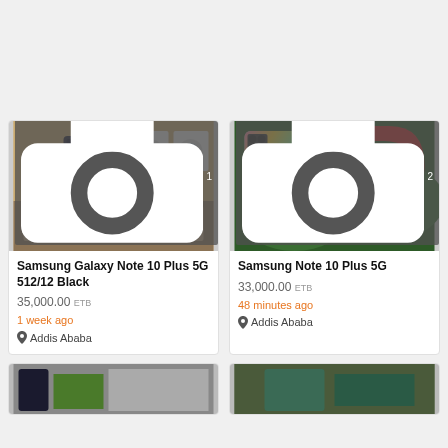[Figure (screenshot): Top gray area from webpage]
[Figure (photo): Samsung Galaxy Note 10 Plus 5G 512/12 Black product listing with phone display in electronics store, photo count: 1]
Samsung Galaxy Note 10 Plus 5G 512/12 Black
35,000.00 ETB
1 week ago
Addis Ababa
[Figure (photo): Samsung Note 10 Plus 5G product listing with holographic back cover, BOSS branding, photo count: 2]
Samsung Note 10 Plus 5G
33,000.00 ETB
48 minutes ago
Addis Ababa
[Figure (photo): Bottom left listing partial image]
[Figure (photo): Bottom right listing partial image]